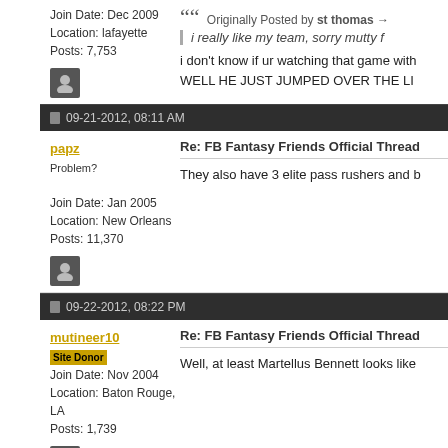Join Date: Dec 2009
Location: lafayette
Posts: 7,753
Originally Posted by st thomas
i really like my team, sorry mutty f
i don't know if ur watching that game with
WELL HE JUST JUMPED OVER THE LI
09-21-2012, 08:11 AM
papz
Problem?
Join Date: Jan 2005
Location: New Orleans
Posts: 11,370
Re: FB Fantasy Friends Official Thread
They also have 3 elite pass rushers and b
09-22-2012, 08:22 PM
mutineer10
Site Donor
Join Date: Nov 2004
Location: Baton Rouge, LA
Posts: 1,739
Re: FB Fantasy Friends Official Thread
Well, at least Martellus Bennett looks like
10-24-2012, 12:04 PM
mutineer10
Site Donor
Re: FB Fantasy Friends Official Thread